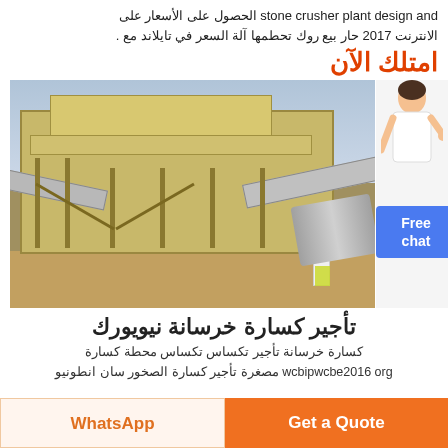stone crusher plant design and الحصول على الأسعار على الانترنت 2017 حار بيع روك تحطمها آلة السعر في تايلاند مع .
امتلك الآن
[Figure (photo): Large industrial stone crusher plant with conveyor belts, metal structures, and a worker in high-visibility vest in the foreground]
تأجير كسارة خرسانة نيويورك
كسارة خرسانة تأجير تكساس تكساس محطة كسارة wcbipwcbe2016 org مصغرة تأجير كسارة الصخور سان انطونيو
WhatsApp
Get a Quote